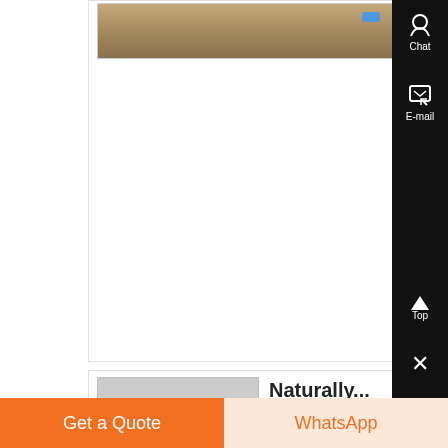[Figure (photo): Thumbnail photo of a mining or earth surface scene with brownish tones and a small blue element visible]
MiningLin... The ,
According To Lab
New Coal Power
Not A Topic In Au
Politics Before To
Abbott piped up a
weeks ago about
building new coa
plants, no one ...
Know M...
[Figure (photo): Bottom card with a small thumbnail image]
Naturally...
Get a Quote
WhatsApp